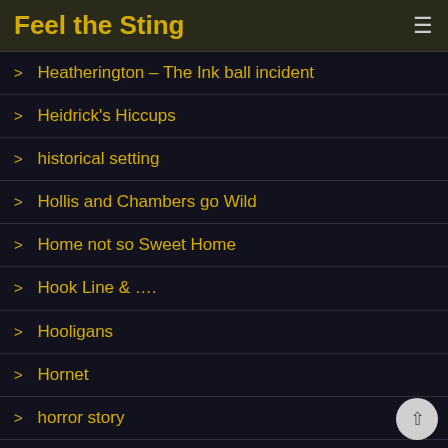Feel the Sting
Heatherington – The Ink ball incident
Heidrick's Hiccups
historical setting
Hollis and Chambers go Wild
Home not so Sweet Home
Hook Line & ….
Hooligans
Hornet
horror story
horse harness
House of Correction Revisited